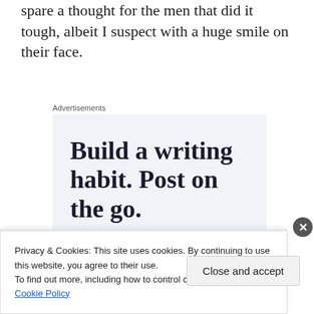spare a thought for the men that did it tough, albeit I suspect with a huge smile on their face.
Advertisements
[Figure (screenshot): Advertisement box with light blue-grey background showing the text 'Build a writing habit. Post on the go.']
Privacy & Cookies: This site uses cookies. By continuing to use this website, you agree to their use.
To find out more, including how to control cookies, see here: Cookie Policy
Close and accept